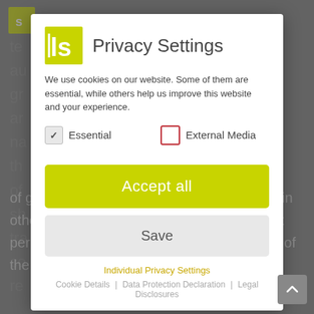[Figure (screenshot): Privacy Settings modal dialog overlay on a website. The modal contains the LS logo, title 'Privacy Settings', description text about cookies, checkboxes for Essential (checked) and External Media (unchecked), an 'Accept all' yellow button, a 'Save' grey button, and links for Individual Privacy Settings, Cookie Details, Data Protection Declaration, and Legal Disclosures. Background shows dimmed website text content.]
We use cookies on our website. Some of them are essential, while others help us improve this website and your experience.
Essential
External Media
Accept all
Save
Individual Privacy Settings
Cookie Details | Data Protection Declaration | Legal Disclosures
of graphics, audio and video clips and texts in other electronic or printed publications is not permitted without the expressed permission of the author. 4.